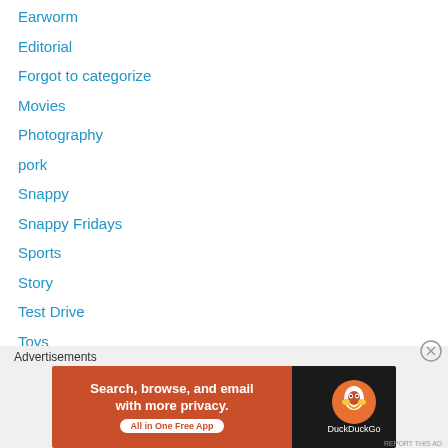Earworm
Editorial
Forgot to categorize
Movies
Photography
pork
Snappy
Snappy Fridays
Sports
Story
Test Drive
Toys
Useless Info
Video Games
[Figure (screenshot): DuckDuckGo advertisement banner: orange left panel with text 'Search, browse, and email with more privacy. All in One Free App' and dark right panel with DuckDuckGo logo and duck icon.]